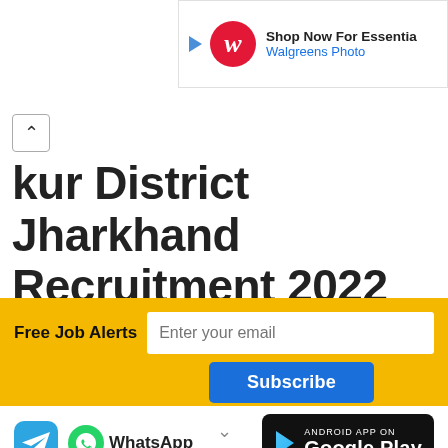[Figure (screenshot): Walgreens Photo advertisement banner with logo, play button, 'Shop Now For Essentials' text and 'Walgreens Photo' link]
kur District Jharkhand Recruitment 2022 for 34 Field Officer
Free Job Alerts  Enter your email  Subscribe
[Figure (screenshot): Telegram icon, WhatsApp group link, and Google Play Android app badge]